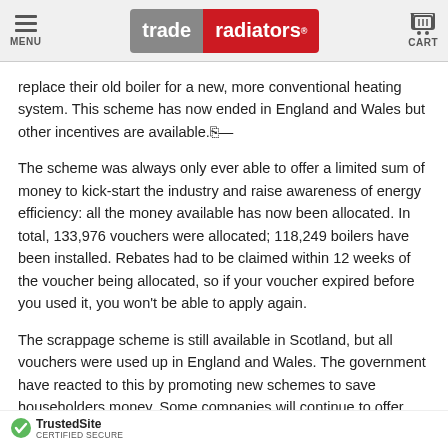MENU | trade radiators® | CART
replace their old boiler for a new, more conventional heating system. This scheme has now ended in England and Wales but other incentives are available.
The scheme was always only ever able to offer a limited sum of money to kick-start the industry and raise awareness of energy efficiency: all the money available has now been allocated. In total, 133,976 vouchers were allocated; 118,249 boilers have been installed. Rebates had to be claimed within 12 weeks of the voucher being allocated, so if your voucher expired before you used it, you won't be able to apply again.
The scrappage scheme is still available in Scotland, but all vouchers were used up in England and Wales. The government have reacted to this by promoting new schemes to save householders money. Some companies will continue to offer promotional discounts on new boiler installation at their own cost after the closure of the scheme. These discount programmes are not affiliated to the Government's official Boiler Scrappage
TrustedSite CERTIFIED SECURE